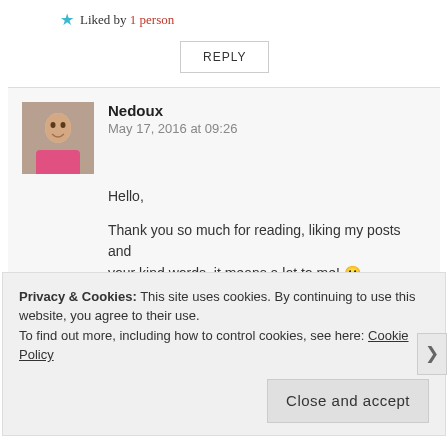★ Liked by 1 person
REPLY
Nedoux
May 17, 2016 at 09:26
Hello,

Thank you so much for reading, liking my posts and your kind words, it means a lot to me! 🙂

Best wishes for the rest of the week.
Privacy & Cookies: This site uses cookies. By continuing to use this website, you agree to their use.
To find out more, including how to control cookies, see here: Cookie Policy
Close and accept